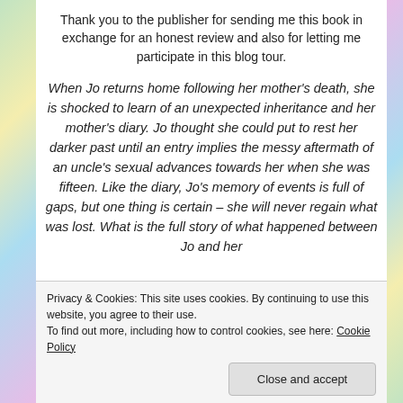Thank you to the publisher for sending me this book in exchange for an honest review and also for letting me participate in this blog tour.
When Jo returns home following her mother’s death, she is shocked to learn of an unexpected inheritance and her mother’s diary. Jo thought she could put to rest her darker past until an entry implies the messy aftermath of an uncle’s sexual advances towards her when she was fifteen. Like the diary, Jo’s memory of events is full of gaps, but one thing is certain – she will never regain what was lost. What is the full story of what happened between Jo and her
Privacy & Cookies: This site uses cookies. By continuing to use this website, you agree to their use.
To find out more, including how to control cookies, see here: Cookie Policy
Close and accept